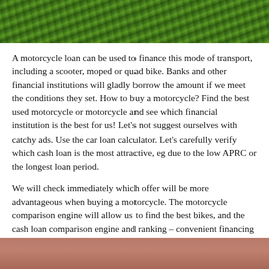[Figure (photo): Top portion of image showing green grass or vegetation, cropped at top of page]
A motorcycle loan can be used to finance this mode of transport, including a scooter, moped or quad bike. Banks and other financial institutions will gladly borrow the amount if we meet the conditions they set. How to buy a motorcycle? Find the best used motorcycle or motorcycle and see which financial institution is the best for us! Let’s not suggest ourselves with catchy ads. Use the car loan calculator. Let’s carefully verify which cash loan is the most attractive, eg due to the low APRC or the longest loan period.
We will check immediately which offer will be more advantageous when buying a motorcycle. The motorcycle comparison engine will allow us to find the best bikes, and the cash loan comparison engine and ranking – convenient financing proposals tailored to our needs.
How do you get a motorcycle loan?
[Figure (photo): Bottom portion of image showing a reddish-pink surface, partially visible at bottom of page]